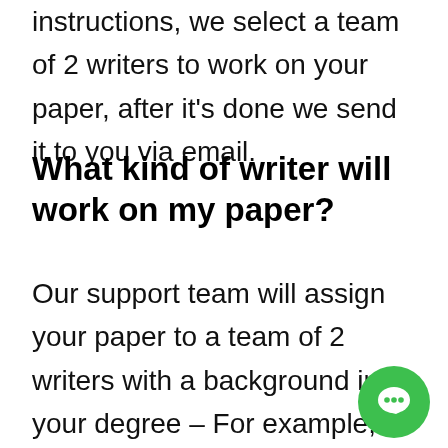instructions, we select a team of 2 writers to work on your paper, after it's done we send it to you via email.
What kind of writer will work on my paper?
Our support team will assign your paper to a team of 2 writers with a background in your degree – For example, if you have a nursing paper we will select a team with a nursing background. The main writer will handle
[Figure (illustration): Green circular chat bubble icon in the bottom right corner]